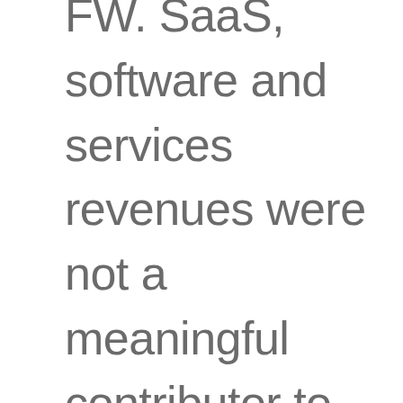FW. SaaS, software and services revenues were not a meaningful contributor to the Company's revenues last year. Non-GAAP gross margin on hardware products